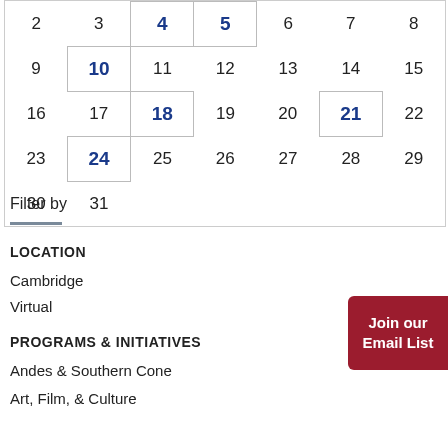| Sun | Mon | Tue | Wed | Thu | Fri | Sat |
| --- | --- | --- | --- | --- | --- | --- |
| 2 | 3 | 4 | 5 | 6 | 7 | 8 |
| 9 | 10 | 11 | 12 | 13 | 14 | 15 |
| 16 | 17 | 18 | 19 | 20 | 21 | 22 |
| 23 | 24 | 25 | 26 | 27 | 28 | 29 |
| 30 | 31 |  |  |  |  |  |
Filter by
LOCATION
Cambridge
Virtual
PROGRAMS & INITIATIVES
Andes & Southern Cone
Art, Film, & Culture
Join our Email List